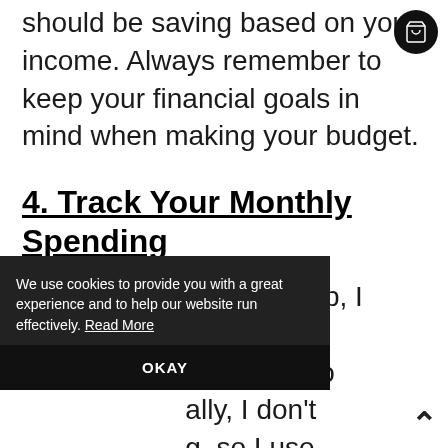should be saving based on your income. Always remember to keep your financial goals in mind when making your budget.
4. Track Your Monthly Spending
Once my budget is set up, I track my [spending so that] I stick to [my budget. Person]ally, I don't [like manual trackin]g, so I use
We use cookies to provide you with a great experience and to help our website run effectively. Read More
OKAY